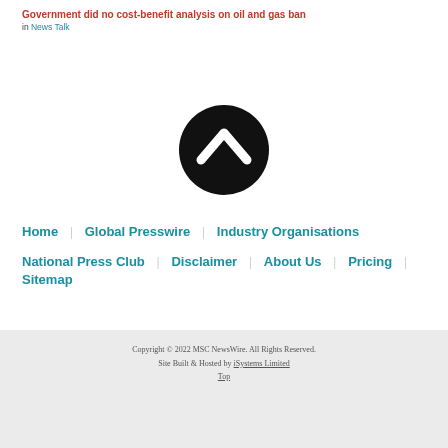Government did no cost-benefit analysis on oil and gas ban
in News Talk
[Figure (illustration): Black circular button with white upward-pointing chevron/arrow icon, used as a scroll-to-top control]
Home | Global Presswire | Industry Organisations | National Press Club | Disclaimer | About Us | Pricing | Sitemap
Copyright © 2022 MSC NewsWire. All Rights Reserved. Site Built & Hosted by iSystems Limited Top